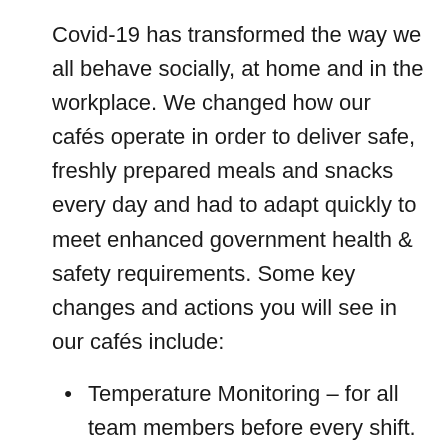Covid-19 has transformed the way we all behave socially, at home and in the workplace. We changed how our cafés operate in order to deliver safe, freshly prepared meals and snacks every day and had to adapt quickly to meet enhanced government health & safety requirements. Some key changes and actions you will see in our cafés include:
Temperature Monitoring – for all team members before every shift.
Protective Masks – for all team